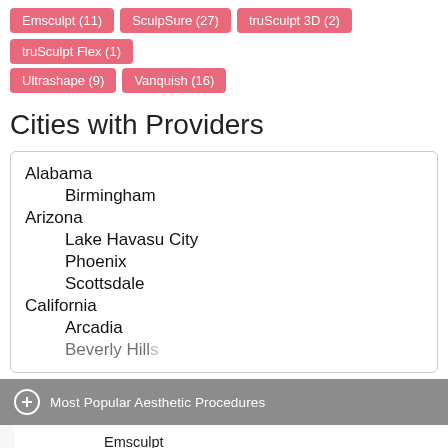Emsculpt (11)
SculpSure (27)
truSculpt 3D (2)
truSculpt Flex (1)
Ultrashape (9)
Vanquish (16)
Cities with Providers
Alabama
    Birmingham
Arizona
    Lake Havasu City
    Phoenix
    Scottsdale
California
    Arcadia
    Beverly Hills
Most Popular Aesthetic Procedures
Emsculpt
ThermiTight
PicoSure
BodyTite